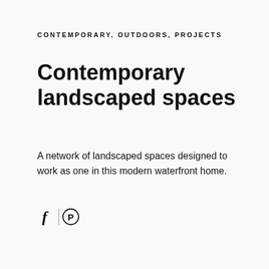CONTEMPORARY, OUTDOORS, PROJECTS
Contemporary landscaped spaces
A network of landscaped spaces designed to work as one in this modern waterfront home.
[Figure (other): Social sharing icons: Facebook (f) and Pinterest (circle with P) separated by a vertical divider line]